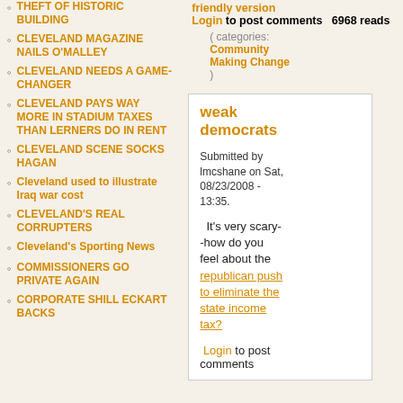THEFT OF HISTORIC BUILDING
CLEVELAND MAGAZINE NAILS O'MALLEY
CLEVELAND NEEDS A GAME-CHANGER
CLEVELAND PAYS WAY MORE IN STADIUM TAXES THAN LERNERS DO IN RENT
CLEVELAND SCENE SOCKS HAGAN
Cleveland used to illustrate Iraq war cost
CLEVELAND'S REAL CORRUPTERS
Cleveland's Sporting News
COMMISSIONERS GO PRIVATE AGAIN
CORPORATE SHILL ECKART BACKS
Login to post comments  6968 reads
( categories: Community Making Change )
weak democrats
Submitted by lmcshane on Sat, 08/23/2008 - 13:35.
It's very scary--how do you feel about the republican push to eliminate the state income tax?
Login to post comments